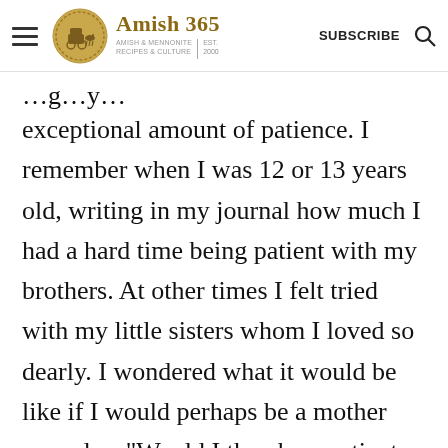Amish 365 | Amish & Mennonite Recipes & Culture | Est. 2000 | SUBSCRIBE
exceptional amount of patience. I remember when I was 12 or 13 years old, writing in my journal how much I had a hard time being patient with my brothers. At other times I felt tried with my little sisters whom I loved so dearly. I wondered what it would be like if I would perhaps be a mother someday. "Would I then be a patient sweet mother or would I be tempted to snap at them," I asked myself time and again.